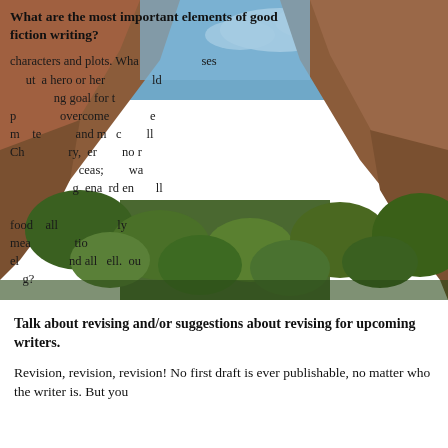[Figure (photo): Photograph of a red rock canyon with blue sky, white clouds, and green trees/vegetation, used as background behind overlaid text about fiction writing elements.]
What are the most important elements of good fiction writing?
characters and plots. What separates good writing from bad? About a hero or heroine who has a goal for the story, problems to overcome. Conflict, complications, motivations, and more can all contribute. Characters should be real, believable, emotional, and more compelling. Plot development all contributes to the overall meaning and flow of the story. Good writing has all elements working together?
Talk about revising and/or suggestions about revising for upcoming writers.
Revision, revision, revision! No first draft is ever publishable, no matter who the writer is. But you